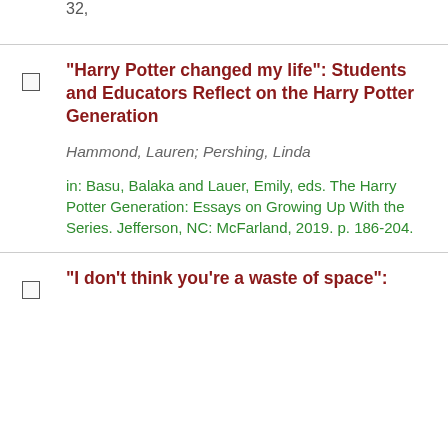32,
"Harry Potter changed my life": Students and Educators Reflect on the Harry Potter Generation
Hammond, Lauren; Pershing, Linda
in: Basu, Balaka and Lauer, Emily, eds. The Harry Potter Generation: Essays on Growing Up With the Series. Jefferson, NC: McFarland, 2019. p. 186-204.
"I don't think you're a waste of space":